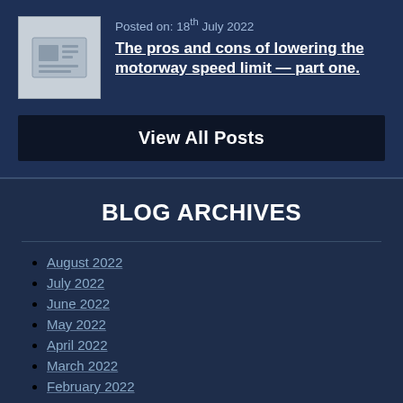Posted on: 18th July 2022
The pros and cons of lowering the motorway speed limit — part one.
View All Posts
BLOG ARCHIVES
August 2022
July 2022
June 2022
May 2022
April 2022
March 2022
February 2022
January 2022
December 2021